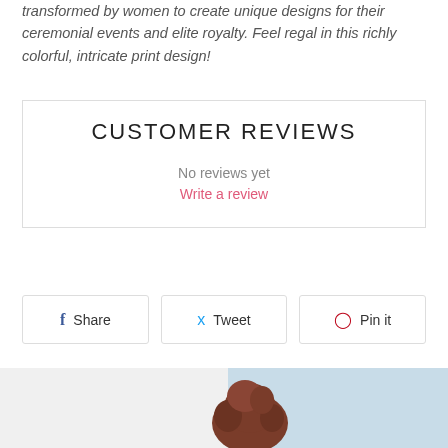transformed by women to create unique designs for their ceremonial events and elite royalty. Feel regal in this richly colorful, intricate print design!
CUSTOMER REVIEWS
No reviews yet
Write a review
Share
Tweet
Pin it
[Figure (photo): Partial view of a person with curly hair against a light blue background, with a dark rounded 'Chat with us' button overlay]